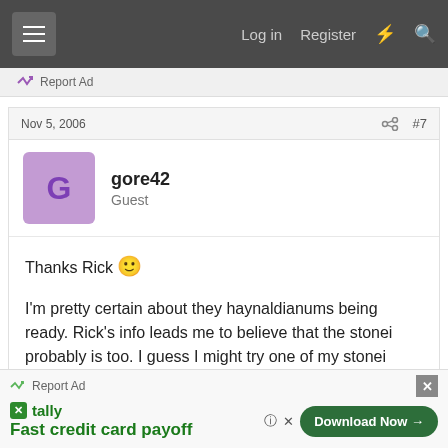Log in  Register
Report Ad
Nov 5, 2006   #7
gore42
Guest
Thanks Rick 🙂

I'm pretty certain about they haynaldianums being ready. Rick's info leads me to believe that the stonei probably is too. I guess I might try one of my stonei pods as an experiment, and let the others go for a while.
Report Ad
tally Fast credit card payoff  Download Now →